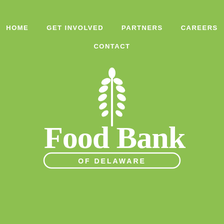HOME   GET INVOLVED   PARTNERS   CAREERS
CONTACT
[Figure (logo): Food Bank of Delaware logo — white wheat stalk above large white serif text 'Food Bank' with 'OF DELAWARE' in a rounded rectangle beneath, all on a green background]